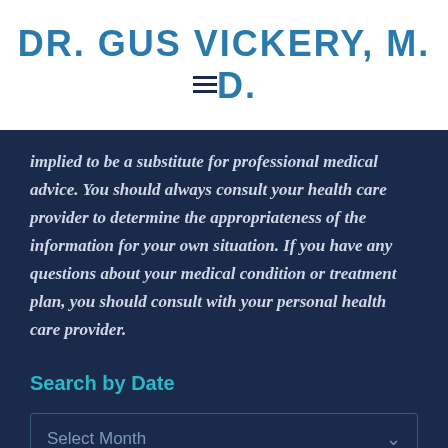DR. GUS VICKERY, M.D.
implied to be a substitute for professional medical advice. You should always consult your health care provider to determine the appropriateness of the information for your own situation. If you have any questions about your medical condition or treatment plan, you should consult with your personal health care provider.
Search by Date
Select Month